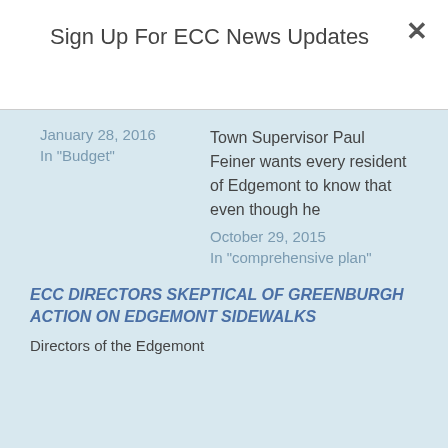Sign Up For ECC News Updates
January 28, 2016
In "Budget"
Town Supervisor Paul Feiner wants every resident of Edgemont to know that even though he
October 29, 2015
In "comprehensive plan"
ECC DIRECTORS SKEPTICAL OF GREENBURGH ACTION ON EDGEMONT SIDEWALKS
Directors of the Edgemont